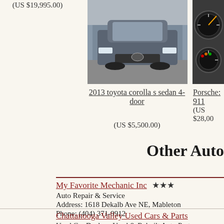(US $19,995.00)
[Figure (photo): Front view of a gray 2013 Toyota Corolla S sedan in a parking lot]
[Figure (photo): Partial view of Porsche 911 dashboard/gauges]
2013 toyota corolla s sedan 4-door
(US $5,500.00)
Porsche: 911
(US $28,00...
Other Auto
My Favorite Mechanic Inc ★★★
Auto Repair & Service
Address: 1618 Dekalb Ave NE, Mableton
Phone: (404) 371-9912
Chattanooga Valley Used Cars & Parts
Used Car Dealers, Used & Rebuilt Auto Parts
Address: 125 Chatata Valley Rd NE, Tannoa